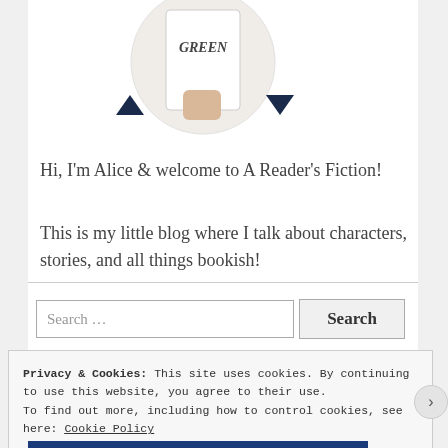[Figure (photo): Circular cropped photo of a person holding a book titled GREEN against a light background, with two dark blue triangular ink splatter decorations on either side below the circle.]
Hi, I'm Alice & welcome to A Reader's Fiction!
This is my little blog where I talk about characters, stories, and all things bookish!
[Figure (other): Search bar with placeholder text 'Search ...' and a Search button]
Privacy & Cookies: This site uses cookies. By continuing to use this website, you agree to their use.
To find out more, including how to control cookies, see here: Cookie Policy
Close and accept